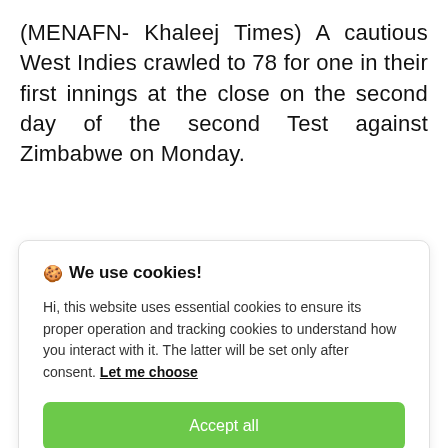(MENAFN- Khaleej Times) A cautious West Indies crawled to 78 for one in their first innings at the close on the second day of the second Test against Zimbabwe on Monday.
🍪 We use cookies!
Hi, this website uses essential cookies to ensure its proper operation and tracking cookies to understand how you interact with it. The latter will be set only after consent. Let me choose
Accept all
Reject all
West Indies lost Kraigg Brathwaite (72